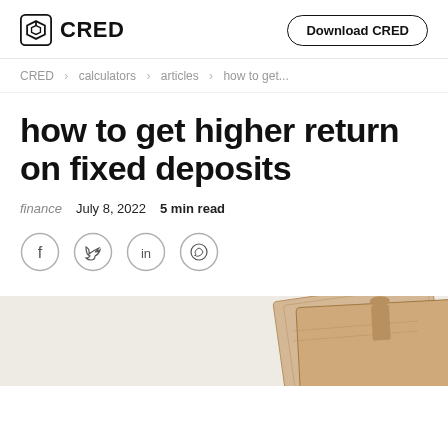CRED | Download CRED
CRED > calculators > articles > how to get...
how to get higher return on fixed deposits
finance  July 8, 2022  5 min read
[Figure (illustration): Social share icons: Facebook, Twitter, LinkedIn, WhatsApp]
[Figure (photo): Bottom portion showing currency notes on a light beige background]